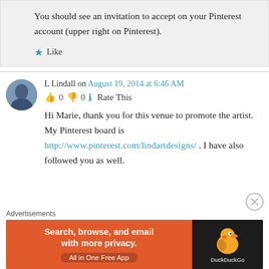You should see an invitation to accept on your Pinterest account (upper right on Pinterest).
Like
L Lindall on August 19, 2014 at 6:46 AM
👍 0 👎 0 ℹ Rate This
Hi Marie, thank you for this venue to promote the artist. My Pinterest board is http://www.pinterest.com/lindartdesigns/ . I have also followed you as well.
Advertisements
[Figure (screenshot): DuckDuckGo advertisement banner: orange background with text 'Search, browse, and email with more privacy. All in One Free App' and DuckDuckGo duck logo on dark background]